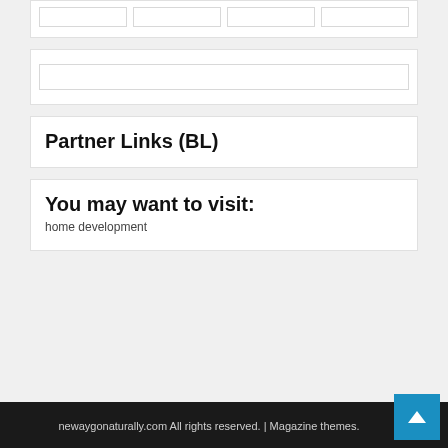[Figure (other): Four empty white boxes in a row inside a white card]
[Figure (other): A search input box inside a white card]
Partner Links (BL)
You may want to visit:
home development
newaygonaturally.com All rights reserved. | Magazine themes.